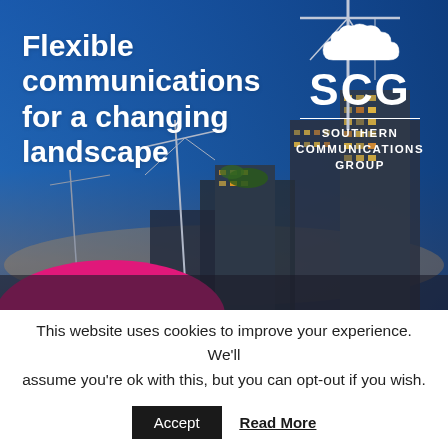[Figure (photo): City skyline at dusk/dawn with construction cranes, tall buildings under construction, blue sky gradient. Pink/magenta semicircle arc in lower left foreground.]
Flexible communications for a changing landscape
[Figure (logo): SCG Southern Communications Group logo: cloud icon above large 'SCG' text, horizontal white divider line, 'SOUTHERN COMMUNICATIONS GROUP' subtitle text — all in white.]
This website uses cookies to improve your experience. We'll assume you're ok with this, but you can opt-out if you wish.
Accept  Read More